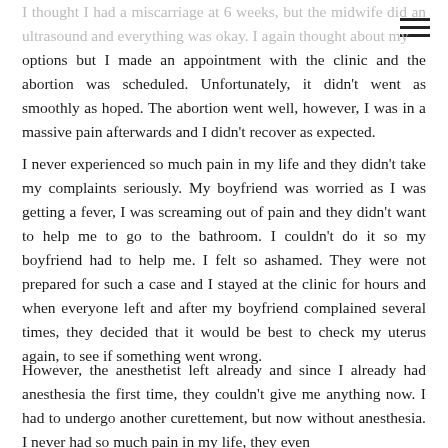I thought I had a miscarriage at 6 weeks, but the midwife did an ultrasound and everything was okay. I again thought about my options but I made an appointment with the clinic and the abortion was scheduled. Unfortunately, it didn't went as smoothly as hoped. The abortion went well, however, I was in a massive pain afterwards and I didn't recover as expected.
I never experienced so much pain in my life and they didn't take my complaints seriously. My boyfriend was worried as I was getting a fever, I was screaming out of pain and they didn't want to help me to go to the bathroom. I couldn't do it so my boyfriend had to help me. I felt so ashamed. They were not prepared for such a case and I stayed at the clinic for hours and when everyone left and after my boyfriend complained several times, they decided that it would be best to check my uterus again, to see if something went wrong.
However, the anesthetist left already and since I already had anesthesia the first time, they couldn't give me anything now. I had to undergo another curettement, but now without anesthesia. I never had so much pain in my life, they even…